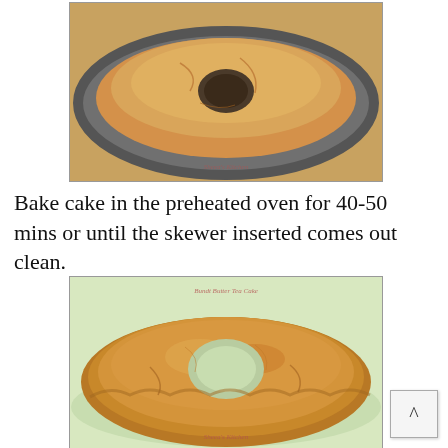[Figure (photo): A golden bundt cake baked inside a dark metal fluted bundt pan, viewed from above, showing the cake puffed up and golden brown.]
Bake cake in the preheated oven for 40-50 mins or until the skewer inserted comes out clean.
[Figure (photo): A fully baked and unmolded bundt butter tea cake, golden brown with a crispy exterior, showing the ring shape with a hole in the center, placed on a light green surface. Watermark reads 'Bundt Butter Tea Cake' and 'Sheea's Kitchen'.]